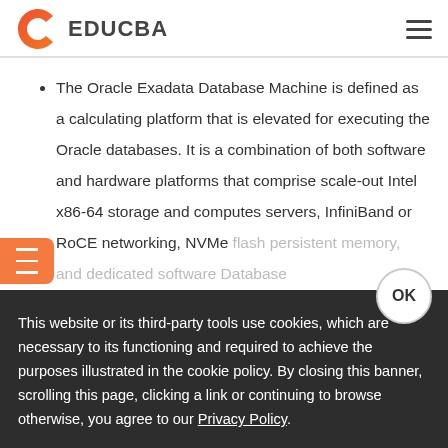EDUCBA
The Oracle Exadata Database Machine is defined as a calculating platform that is elevated for executing the Oracle databases. It is a combination of both software and hardware platforms that comprise scale-out Intel x86-64 storage and computes servers, InfiniBand or RoCE networking, NVMe flash persistent memory, and dedicated software...
This website or its third-party tools use cookies, which are necessary to its functioning and required to achieve the purposes illustrated in the cookie policy. By closing this banner, scrolling this page, clicking a link or continuing to browse otherwise, you agree to our Privacy Policy.